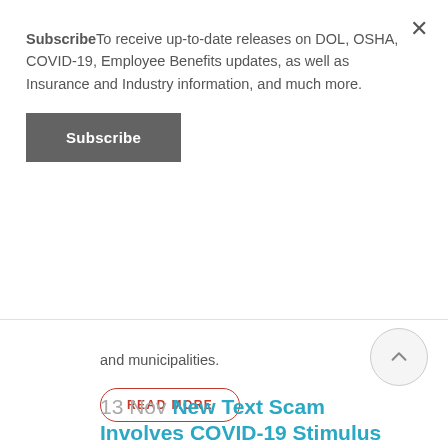SubscribeTo receive up-to-date releases on DOL, OSHA, COVID-19, Employee Benefits updates, as well as Insurance and Industry information, and much more.
Subscribe
and municipalities.
READ MORE
13 Nov New Text Scam Involves COVID-19 Stimulus